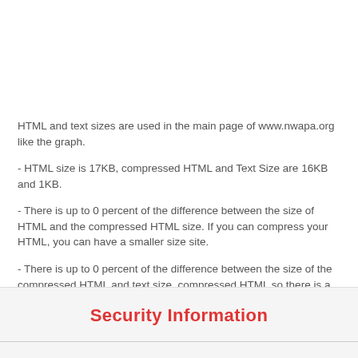HTML and text sizes are used in the main page of www.nwapa.org like the graph.
- HTML size is 17KB, compressed HTML and Text Size are 16KB and 1KB.
- There is up to 0 percent of the difference between the size of HTML and the compressed HTML size. If you can compress your HTML, you can have a smaller size site.
- There is up to 0 percent of the difference between the size of the compressed HTML and text size. compressed HTML so there is a difference.You may be using more than necessary HTML on your site. You can review the new assessments of the HTML you've used again.
Security Information